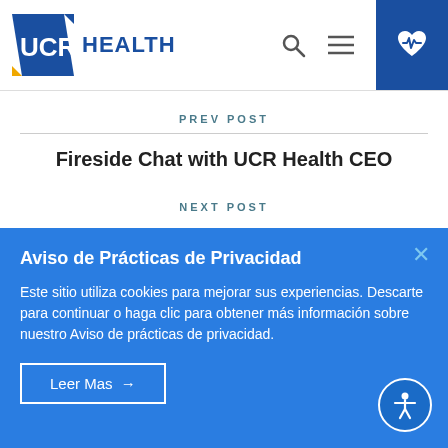UCR HEALTH
PREV POST
Fireside Chat with UCR Health CEO
NEXT POST
Aviso de Prácticas de Privacidad
Este sitio utiliza cookies para mejorar sus experiencias. Descarte para continuar o haga clic para obtener más información sobre nuestro Aviso de prácticas de privacidad.
Leer Mas →